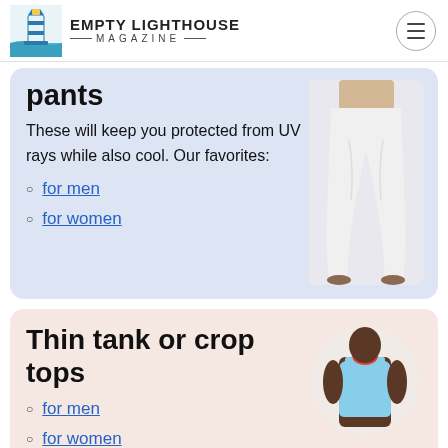EMPTY LIGHTHOUSE MAGAZINE
pants
These will keep you protected from UV rays while also cool. Our favorites:
for men
for women
[Figure (photo): Person wearing white flowing pants and sandals]
Thin tank or crop tops
for men
for women
[Figure (photo): Man wearing a light blue tank top with red trim]